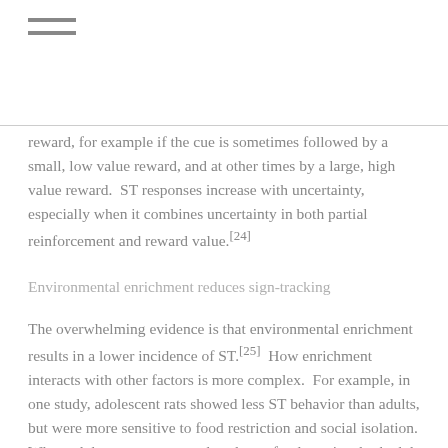≡
reward, for example if the cue is sometimes followed by a small, low value reward, and at other times by a large, high value reward.  ST responses increase with uncertainty, especially when it combines uncertainty in both partial reinforcement and reward value.[24]
Environmental enrichment reduces sign-tracking
The overwhelming evidence is that environmental enrichment results in a lower incidence of ST.[25]  How enrichment interacts with other factors is more complex.  For example, in one study, adolescent rats showed less ST behavior than adults, but were more sensitive to food restriction and social isolation.  When adolescent rats were placed on a food restricted schedule, ST was higher in socially isolated rats, and GT was higher in pair-housed rats.[26]  More research is